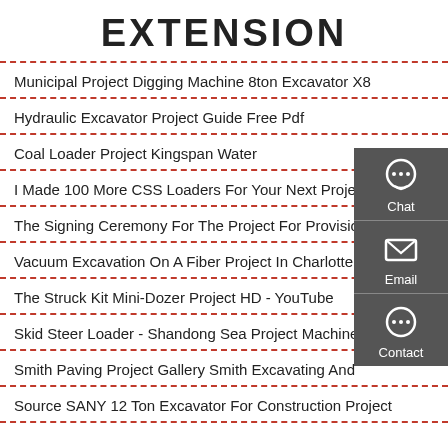EXTENSION
Municipal Project Digging Machine 8ton Excavator X8
Hydraulic Excavator Project Guide Free Pdf
Coal Loader Project Kingspan Water
I Made 100 More CSS Loaders For Your Next Project…
The Signing Ceremony For The Project For Provision Of
Vacuum Excavation On A Fiber Project In Charlotte
The Struck Kit Mini-Dozer Project HD - YouTube
Skid Steer Loader - Shandong Sea Project Machinery
Smith Paving Project Gallery Smith Excavating And
Source SANY 12 Ton Excavator For Construction Project